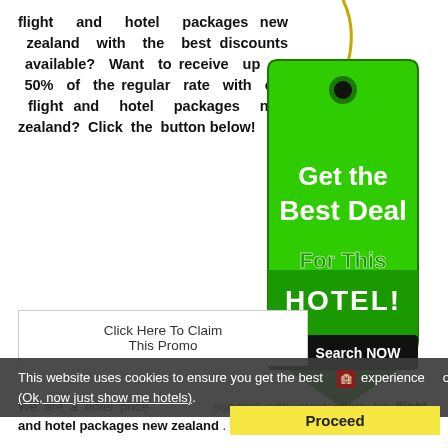flight and hotel packages new zealand with the best discounts available? Want to receive up to 50% of the regular rate with our flight and hotel packages new zealand? Click the button below!
[Figure (illustration): Green price tag graphic with text 'Get the Best Deal For This HOTEL!' and 'Search NOW' with shopping cart icon]
Click Here To Claim This Promo
This website uses cookies to ensure you get the best experience on our website. (Ok, now just show me hotels).
Proceed
We are a hotel price comparison tool with great offers for flight and hotel packages new zealand . We help to lock in only